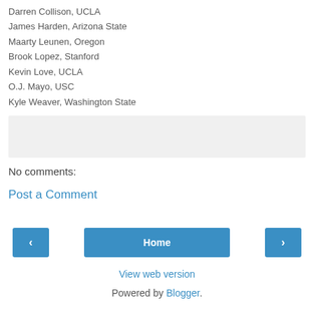Darren Collison, UCLA
James Harden, Arizona State
Maarty Leunen, Oregon
Brook Lopez, Stanford
Kevin Love, UCLA
O.J. Mayo, USC
Kyle Weaver, Washington State
No comments:
Post a Comment
Home
View web version
Powered by Blogger.